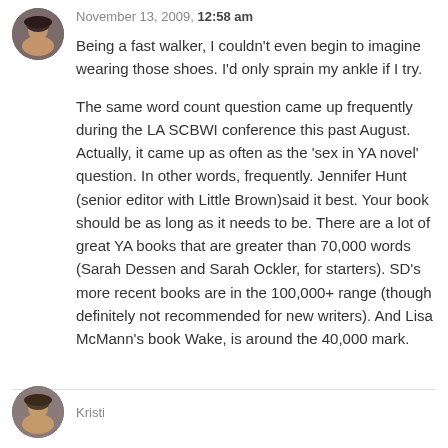[Figure (photo): Circular avatar photo of a woman with dark hair]
November 13, 2009, 12:58 am
Being a fast walker, I couldn't even begin to imagine wearing those shoes. I'd only sprain my ankle if I try.

The same word count question came up frequently during the LA SCBWI conference this past August. Actually, it came up as often as the 'sex in YA novel' question. In other words, frequently. Jennifer Hunt (senior editor with Little Brown)said it best. Your book should be as long as it needs to be. There are a lot of great YA books that are greater than 70,000 words (Sarah Dessen and Sarah Ockler, for starters). SD's more recent books are in the 100,000+ range (though definitely not recommended for new writers). And Lisa McMann's book Wake, is around the 40,000 mark.
[Figure (photo): Circular avatar photo of a second commenter]
Kristi